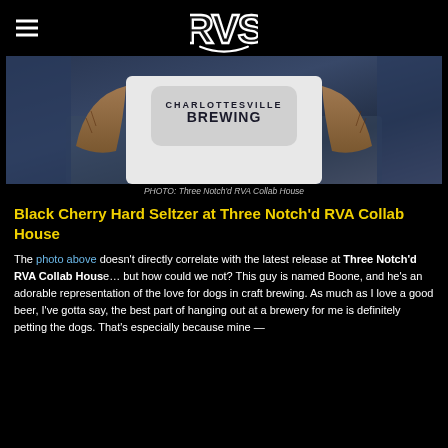RVS logo with hamburger menu
[Figure (photo): A man wearing a Charlottesville Brewing t-shirt, arms visible, sitting on a blue surface with a dog]
PHOTO: Three Notch'd RVA Collab House
Black Cherry Hard Seltzer at Three Notch'd RVA Collab House
The photo above doesn't directly correlate with the latest release at Three Notch'd RVA Collab House… but how could we not? This guy is named Boone, and he's an adorable representation of the love for dogs in craft brewing. As much as I love a good beer, I've gotta say, the best part of hanging out at a brewery for me is definitely petting the dogs. That's especially because mine —